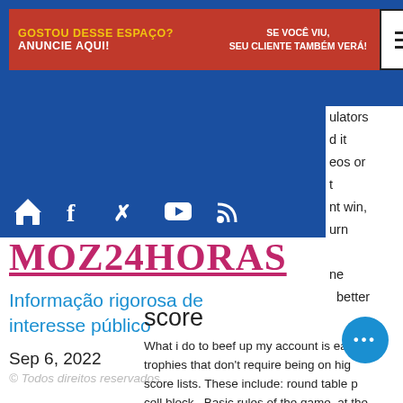[Figure (screenshot): Website header banner advertisement in red with text 'GOSTOU DESSE ESPAÇO? ANUNCIE AQUI!' in yellow/white and 'SE VOCÊ VIU, SEU CLIENTE TAMBÉM VERÁ!' in white, with hamburger menu icon in white box]
[Figure (screenshot): Blue website hero section with social media icons: home, facebook, twitter, youtube, RSS feed in white]
MOZ24HORAS
Informação rigorosa de interesse público
ulators
d it
eos or
t
nt win,
urn
ne
better
Sep 6, 2022
© Todos direitos reservados
score
What i do to beef up my account is earn trophies that don't require being on hig score lists. These include: round table p cell block,. Basic rules of the game, at the